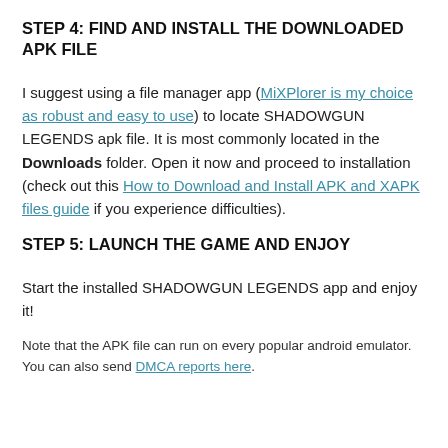STEP 4: FIND AND INSTALL THE DOWNLOADED APK FILE
I suggest using a file manager app (MiXPlorer is my choice as robust and easy to use) to locate SHADOWGUN LEGENDS apk file. It is most commonly located in the Downloads folder. Open it now and proceed to installation (check out this How to Download and Install APK and XAPK files guide if you experience difficulties).
STEP 5: LAUNCH THE GAME AND ENJOY
Start the installed SHADOWGUN LEGENDS app and enjoy it!
Note that the APK file can run on every popular android emulator. You can also send DMCA reports here.